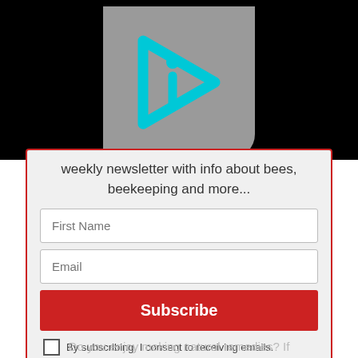[Figure (logo): Gray rounded rectangle logo with cyan/teal outlined play-button triangle shape containing a lowercase letter 'i' in the center]
weekly newsletter with info about bees, beekeeping and more...
First Name
Email
Subscribe
By subscribing, I consent to receiving emails.
Do you enjoy making natural remedies? If